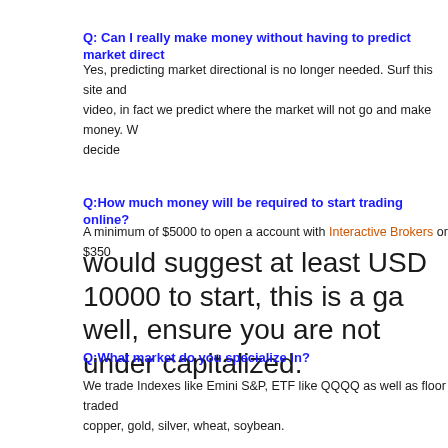Q: Can I really make money without having to predict market direct...
Yes, predicting market directional is no longer needed. Surf this site and... video, in fact we predict where the market will not go and make money. W... decide
Q:How much money will be required to start trading online?
A minimum of $5000 to open a account with Interactive Brokers or $350... would suggest at least USD 10000 to start, this is a ga... well, ensure you are not under capitalized.
Q:What market do you specialize in?
We trade Indexes like Emini S&P, ETF like QQQQ as well as floor traded... copper, gold, silver, wheat, soybean.